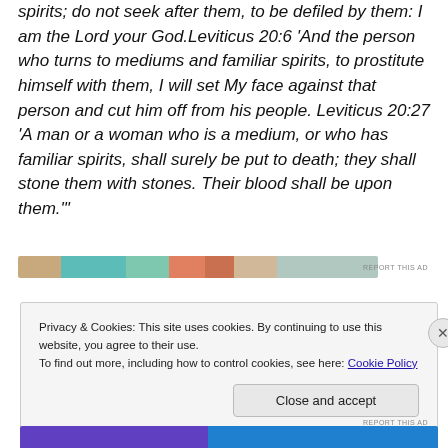spirits; do not seek after them, to be defiled by them: I am the Lord your God.Leviticus 20:6 'And the person who turns to mediums and familiar spirits, to prostitute himself with them, I will set My face against that person and cut him off from his people. Leviticus 20:27 'A man or a woman who is a medium, or who has familiar spirits, shall surely be put to death; they shall stone them with stones. Their blood shall be upon them.'
[Figure (other): Advertisement banner strip with colorful sections]
REPORT THIS AD
Privacy & Cookies: This site uses cookies. By continuing to use this website, you agree to their use.
To find out more, including how to control cookies, see here: Cookie Policy
Close and accept